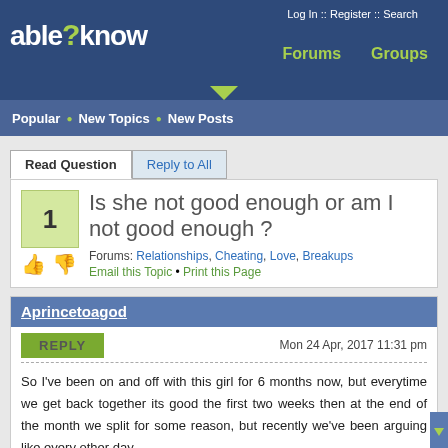able2know | Log In :: Register :: Search | Forums | Groups
Popular • New Topics • New Posts
Read Question | Reply to All
Is she not good enough or am I not good enough ?
Forums: Relationships, Cheating, Love, Breakups
Email this Topic • Print this Page
Aprincetoagod
REPLY  Mon 24 Apr, 2017 11:31 pm
So I've been on and off with this girl for 6 months now, but everytime we get back together its good the first two weeks then at the end of the month we split for some reason, but recently we've been arguing like every other day.

On Friday we got off work she got mad when I said I was going